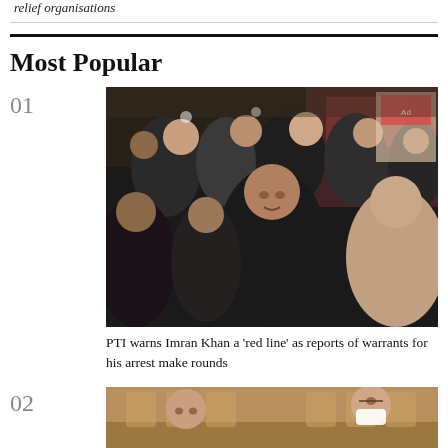relief organisations
Most Popular
01
[Figure (photo): A crowd of people in what appears to be an indoor venue at night; a man in a dark shirt is visible in the center foreground, surrounded by others.]
PTI warns Imran Khan a 'red line' as reports of warrants for his arrest make rounds
02
[Figure (photo): People seated at a table in what appears to be a restaurant or meeting room; one person is wearing a face mask.]